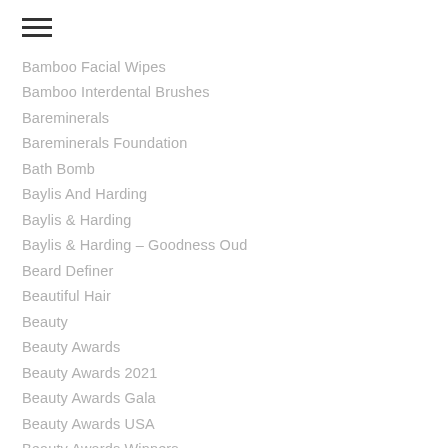Bamboo Facial Wipes
Bamboo Interdental Brushes
Bareminerals
Bareminerals Foundation
Bath Bomb
Baylis And Harding
Baylis & Harding
Baylis & Harding – Goodness Oud
Beard Definer
Beautiful Hair
Beauty
Beauty Awards
Beauty Awards 2021
Beauty Awards Gala
Beauty Awards USA
Beauty Awards Winners
Beauty Award Trophy
Beauty Brands